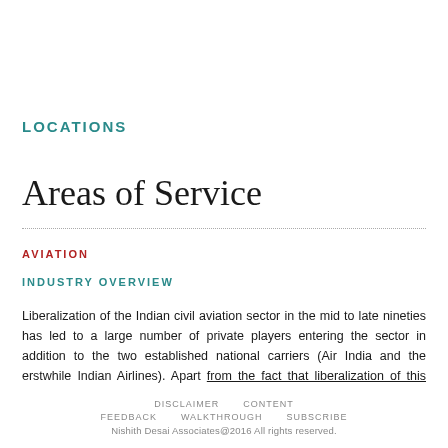LOCATIONS
Areas of Service
AVIATION
INDUSTRY OVERVIEW
Liberalization of the Indian civil aviation sector in the mid to late nineties has led to a large number of private players entering the sector in addition to the two established national carriers (Air India and the erstwhile Indian Airlines). Apart from the fact that liberalization of this sector came alongside the phase
DISCLAIMER   CONTENT   FEEDBACK   WALKTHROUGH   SUBSCRIBE
Nishith Desai Associates@2016 All rights reserved.